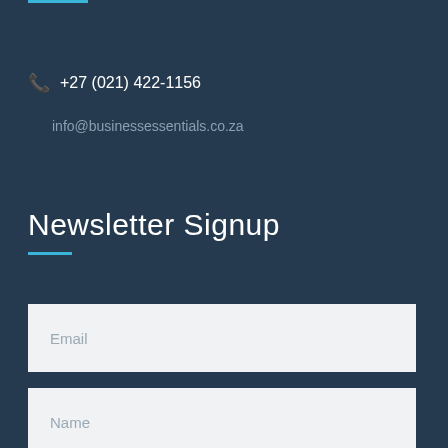+27 (021) 422-1156
info@businessessentials.co.za
Newsletter Signup
Email
Name
Please select a category